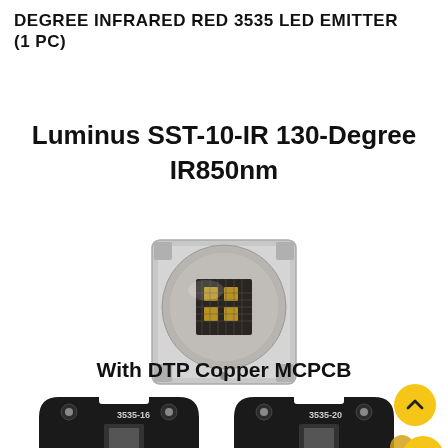DEGREE INFRARED RED 3535 LED EMITTER (1 PC)
Luminus SST-10-IR 130-Degree IR850nm
[Figure (photo): Close-up photo of a Luminus SST-10-IR LED emitter on a square PCB substrate, showing gold bonding wires and emitter die.]
With DTP Copper MCPCB
[Figure (photo): Two black MCPCB boards labelled 3535-16 and 3535-20 shown side by side, partially cropped at bottom of page. A yellow circular scroll-up button is visible at bottom right.]